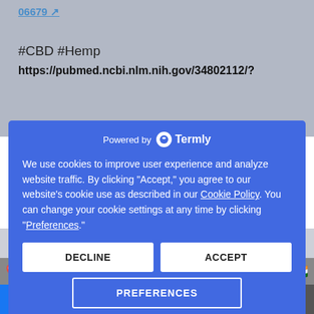#CBD #Hemp
https://pubmed.ncbi.nlm.nih.gov/34802112/?
Powered by Termly
We use cookies to improve user experience and analyze website traffic. By clicking “Accept,” you agree to our website’s cookie use as described in our Cookie Policy. You can change your cookie settings at any time by clicking “Preferences.”
DECLINE
ACCEPT
PREFERENCES
PubMed: Cannabis-Based Medicines and Medical Cannabis: How to Advise...